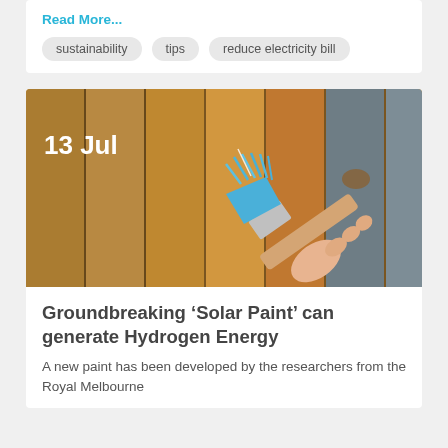Read More...
sustainability
tips
reduce electricity bill
[Figure (photo): A hand holding a blue paint brush painting wooden fence boards. Date overlay reads '13 Jul' in white bold text.]
Groundbreaking ‘Solar Paint’ can generate Hydrogen Energy
A new paint has been developed by the researchers from the Royal Melbourne